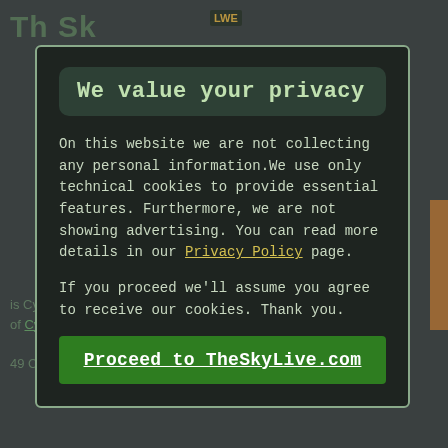We value your privacy
On this website we are not collecting any personal information.We use only technical cookies to provide essential features. Furthermore, we are not showing advertising. You can read more details in our Privacy Policy page.
If you proceed we'll assume you agree to receive our cookies. Thank you.
Proceed to TheSkyLive.com